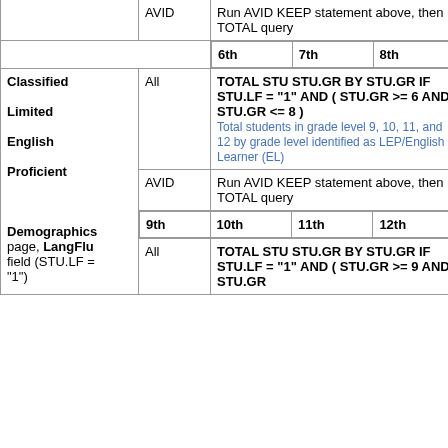| Category | Type | 6th/9th | 7th/10th | 8th/11th | 12th |
| --- | --- | --- | --- | --- | --- |
|  | AVID | Run AVID KEEP statement above, then TOTAL query |  |  |  |
|  |  | 6th | 7th | 8th |  |
| Classified Limited English Proficient

Demographics page, LangFlu field (STU.LF = "1") | All | TOTAL STU STU.GR BY STU.GR IF STU.LF = "1" AND ( STU.GR >= 6 AND STU.GR <= 8 ) | Total students in grade level 9, 10, 11, and 12 by grade level identified as LEP/English Learner (EL) |  |  |  |
|  | AVID | Run AVID KEEP statement above, then TOTAL query |  |  |  |
|  |  | 9th | 10th | 11th | 12th |
|  | All | TOTAL STU STU.GR BY STU.GR IF STU.LF = "1" AND ( STU.GR >= 9 AND STU.GR |  |  |  |